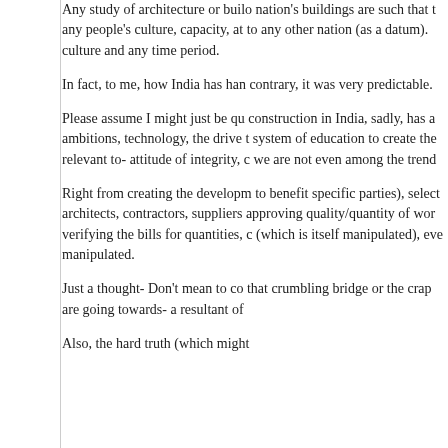Any study of architecture or builo nation's buildings are such that t any people's culture, capacity, at to any other nation (as a datum). culture and any time period.
In fact, to me, how India has han contrary, it was very predictable.
Please assume I might just be qu construction in India, sadly, has a ambitions, technology, the drive t system of education to create the relevant to- attitude of integrity, c we are not even among the trend
Right from creating the developm to benefit specific parties), select architects, contractors, suppliers approving quality/quantity of wor verifying the bills for quantities, c (which is itself manipulated), eve manipulated.
Just a thought- Don't mean to co that crumbling bridge or the crap are going towards- a resultant of
Also, the hard truth (which might